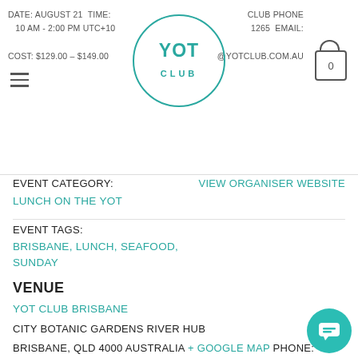DATE: AUGUST 21 TIME: 10:00 AM - 2:00 PM UTC+10 CLUB PHONE ... 1265 EMAIL: ...@YOTCLUB.COM.AU COST: $129.00 – $149.00
EVENT CATEGORY:
VIEW ORGANISER WEBSITE
LUNCH ON THE YOT
EVENT TAGS:
BRISBANE, LUNCH, SEAFOOD, SUNDAY
VENUE
YOT CLUB BRISBANE
CITY BOTANIC GARDENS RIVER HUB
BRISBANE, QLD 4000 AUSTRALIA + GOOGLE MAP PHONE:
1300417019 VIEW VENUE WEBSITE